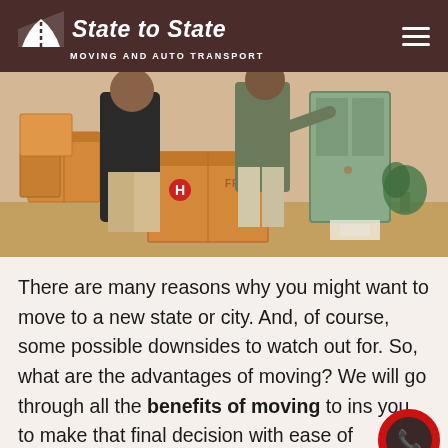State to State MOVING AND AUTO TRANSPORT
[Figure (photo): Two people surrounded by moving boxes in a home, one pointing and one holding a box.]
There are many reasons why you might want to move to a new state or city. And, of course, some possible downsides to watch out for. So, what are the advantages of moving? We will go through all the benefits of moving to ins you to make that final decision with ease of